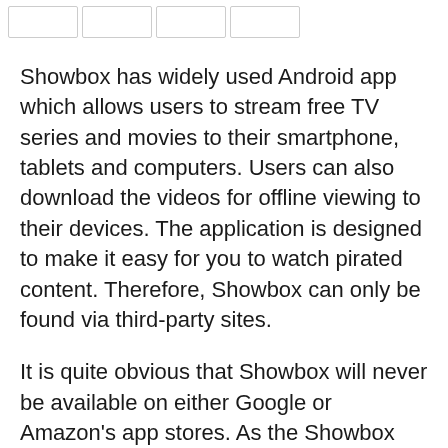[Figure (other): Four small rectangular placeholder image boxes arranged horizontally at the top of the page]
Showbox has widely used Android app which allows users to stream free TV series and movies to their smartphone, tablets and computers. Users can also download the videos for offline viewing to their devices. The application is designed to make it easy for you to watch pirated content. Therefore, Showbox can only be found via third-party sites.
It is quite obvious that Showbox will never be available on either Google or Amazon's app stores. As the Showbox APK can be used install Showbox app on an Android device, it can also be used to run the app on the Fire Stick